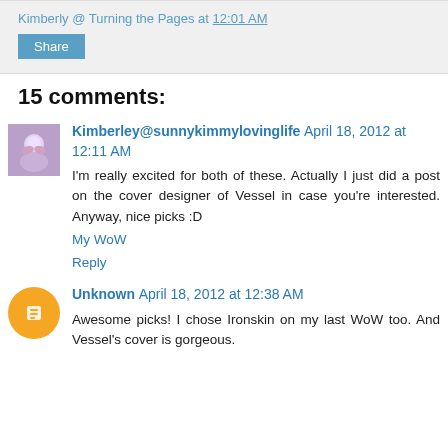Kimberly @ Turning the Pages at 12:01 AM
Share
15 comments:
Kimberley@sunnykimmylovinglife April 18, 2012 at 12:11 AM
I'm really excited for both of these. Actually I just did a post on the cover designer of Vessel in case you're interested. Anyway, nice picks :D
My WoW
Reply
Unknown April 18, 2012 at 12:38 AM
Awesome picks! I chose Ironskin on my last WoW too. And Vessel's cover is gorgeous.